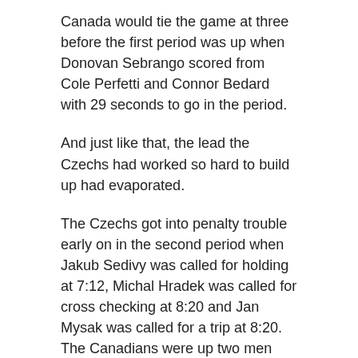Canada would tie the game at three before the first period was up when Donovan Sebrango scored from Cole Perfetti and Connor Bedard with 29 seconds to go in the period.
And just like that, the lead the Czechs had worked so hard to build up had evaporated.
The Czechs got into penalty trouble early on in the second period when Jakub Sedivy was called for holding at 7:12, Michal Hradek was called for cross checking at 8:20 and Jan Mysak was called for a trip at 8:20. The Canadians were up two men now and that would be lethal for them.
Sure enough, Power scored at 8:50 from Perfetti and Mavrik Bourque to put Canada up 4-3. And with that, Sedivy came out of the box and the Hradek's penalty kicked in, keeping the Czechs down two men.